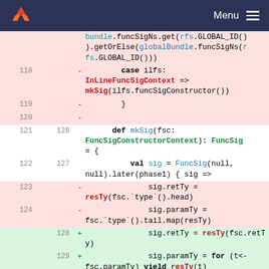Menu
[Figure (screenshot): Code diff view from a GitLab-style web interface showing Scala source code changes. Lines 118-120 are deletions (red background) showing a pattern match case for InLineFuncSigContext. Lines 121-122 and 126-127 are context lines showing def mkSig function definition. Lines 123-124 are deletions showing sig.retTy and sig.paramTy assignments using fsc.type(). Lines 128-129 are additions (green background) showing sig.retTy = resTy(fsc.retTy) and sig.paramTy = for (t<- fsc.paramTy) yield resTy(t).]